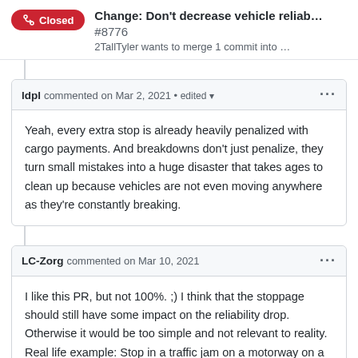Change: Don't decrease vehicle reliab... #8776
2TallTyler wants to merge 1 commit into …
ldpl commented on Mar 2, 2021 • edited
Yeah, every extra stop is already heavily penalized with cargo payments. And breakdowns don't just penalize, they turn small mistakes into a huge disaster that takes ages to clean up because vehicles are not even moving anywhere as they're constantly breaking.
LC-Zorg commented on Mar 10, 2021
I like this PR, but not 100%. ;) I think that the stoppage should still have some impact on the reliability drop. Otherwise it would be too simple and not relevant to reality. Real life example: Stop in a traffic jam on a motorway on a hot or very cold day, and stand still for many hours. It doesn't